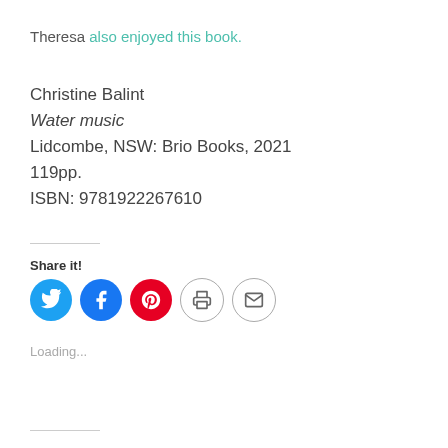Theresa also enjoyed this book.
Christine Balint
Water music
Lidcombe, NSW: Brio Books, 2021
119pp.
ISBN: 9781922267610
Share it!
[Figure (other): Social sharing icons: Twitter (blue circle), Facebook (blue circle), Pinterest (red circle), Print (light circle), Email (light circle)]
Loading...